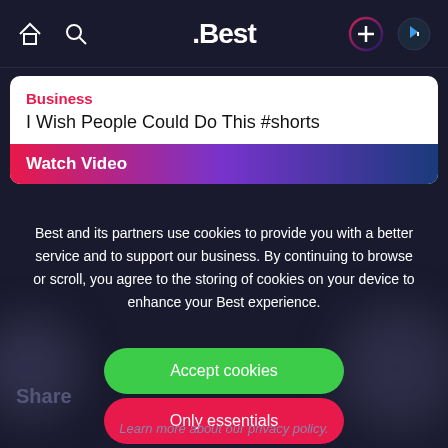.Best
Business
I Wish People Could Do This #shorts
Watch Video
Best and its partners use cookies to provide you with a better service and to support our business. By continuing to browse or scroll, you agree to the storing of cookies on your device to enhance your Best experience.
Accept cookies
Only essentials
Share
Learn more about our privacy policy.